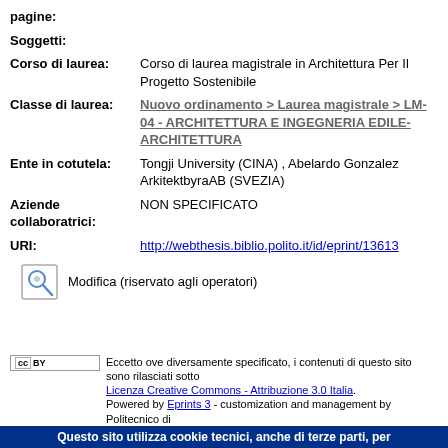pagine:
Soggetti:
Corso di laurea: Corso di laurea magistrale in Architettura Per Il Progetto Sostenibile
Classe di laurea: Nuovo ordinamento > Laurea magistrale > LM-04 - ARCHITETTURA E INGEGNERIA EDILE-ARCHITETTURA
Ente in cotutela: Tongji University (CINA) , Abelardo Gonzalez ArkitektbyraAB (SVEZIA)
Aziende collaboratrici: NON SPECIFICATO
URI: http://webthesis.biblio.polito.it/id/eprint/13613
Modifica (riservato agli operatori)
Contatti
Eccetto ove diversamente specificato, i contenuti di questo sito sono rilasciati sotto Licenza Creative Commons - Attribuzione 3.0 Italia. Powered by Eprints 3 - customization and management by Politecnico di
Questo sito utilizza cookie tecnici, anche di terze parti, per